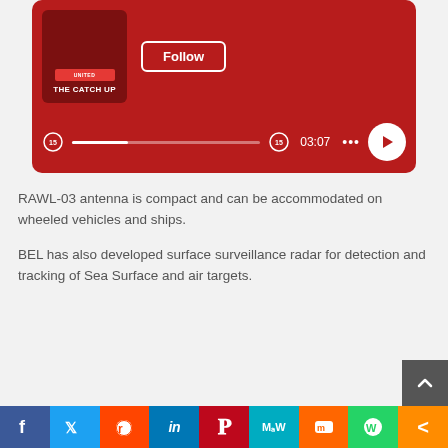[Figure (screenshot): A podcast player widget with red background, showing 'THE CATCH UP' title and a Follow button, with playback controls showing time 03:07 and a play button]
RAWL-03 antenna is compact and can be accommodated on wheeled vehicles and ships.
BEL has also developed surface surveillance radar for detection and tracking of Sea Surface and air targets.
[Figure (infographic): Social media sharing bar at the bottom with icons for Facebook, Twitter, Reddit, LinkedIn, Pinterest, MeWe, Mix, WhatsApp, and More (share)]